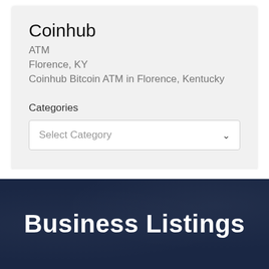Coinhub
ATM
Florence, KY
Coinhub Bitcoin ATM in Florence, Kentucky
Categories
Select Category
Business Listings